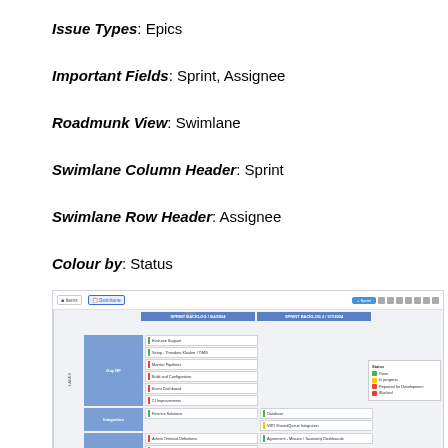Issue Types: Epics
Important Fields: Sprint, Assignee
Roadmunk View: Swimlane
Swimlane Column Header: Sprint
Swimlane Row Header: Assignee
Colour by: Status
[Figure (screenshot): Roadmunk swimlane view screenshot showing a board with sprint columns and assignee rows, with coloured issue cards and a status legend]